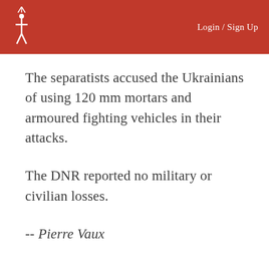Login / Sign Up
The separatists accused the Ukrainians of using 120 mm mortars and armoured fighting vehicles in their attacks.
The DNR reported no military or civilian losses.
-- Pierre Vaux